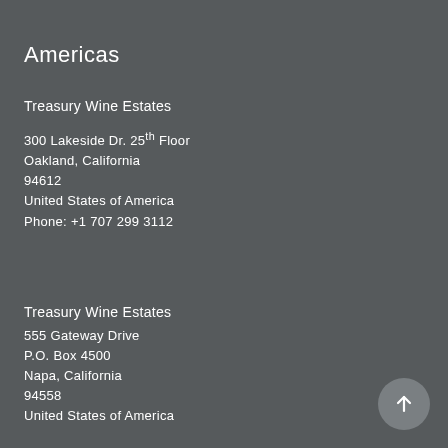Americas
Treasury Wine Estates
300 Lakeside Dr. 25th Floor
Oakland, California
94612
United States of America
Phone: +1 707 299 3112
Treasury Wine Estates
555 Gateway Drive
P.O. Box 4500
Napa, California
94558
United States of America